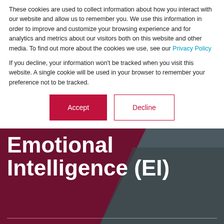These cookies are used to collect information about how you interact with our website and allow us to remember you. We use this information in order to improve and customize your browsing experience and for analytics and metrics about our visitors both on this website and other media. To find out more about the cookies we use, see our Privacy Policy
If you decline, your information won't be tracked when you visit this website. A single cookie will be used in your browser to remember your preference not to be tracked.
[Figure (other): Accept and Decline cookie consent buttons]
Emotional Intelligence (EI)
May 25, 2022